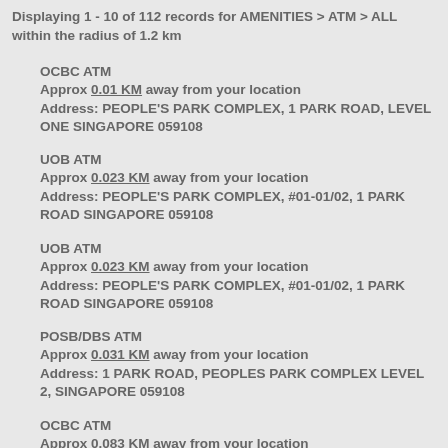Displaying 1 - 10 of 112 records for AMENITIES > ATM > ALL within the radius of 1.2 km
OCBC ATM
Approx 0.01 KM away from your location
Address: PEOPLE'S PARK COMPLEX, 1 PARK ROAD, LEVEL ONE SINGAPORE 059108
UOB ATM
Approx 0.023 KM away from your location
Address: PEOPLE'S PARK COMPLEX, #01-01/02, 1 PARK ROAD SINGAPORE 059108
UOB ATM
Approx 0.023 KM away from your location
Address: PEOPLE'S PARK COMPLEX, #01-01/02, 1 PARK ROAD SINGAPORE 059108
POSB/DBS ATM
Approx 0.031 KM away from your location
Address: 1 PARK ROAD, PEOPLES PARK COMPLEX LEVEL 2, SINGAPORE 059108
OCBC ATM
Approx 0.083 KM away from your location